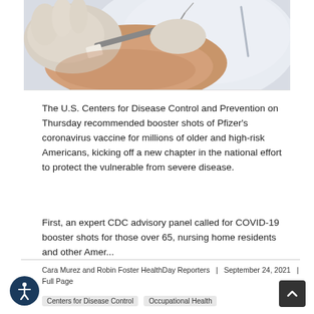[Figure (photo): Close-up photo of a healthcare worker administering a vaccine injection into a patient's upper arm with a syringe]
The U.S. Centers for Disease Control and Prevention on Thursday recommended booster shots of Pfizer's coronavirus vaccine for millions of older and high-risk Americans, kicking off a new chapter in the national effort to protect the vulnerable from severe disease.
First, an expert CDC advisory panel called for COVID-19 booster shots for those over 65, nursing home residents and other Amer...
Cara Murez and Robin Foster HealthDay Reporters | September 24, 2021 | Full Page
Centers for Disease Control   Occupational Health